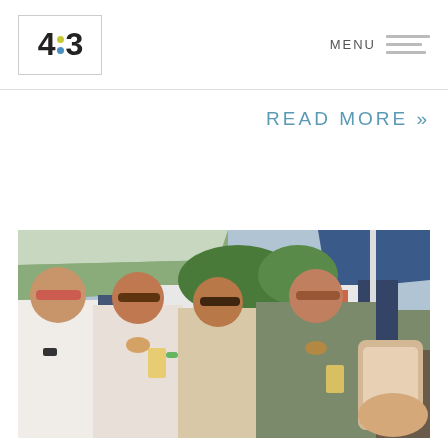4:3 | MENU
READ MORE »
[Figure (photo): Group of four women smiling and taking a selfie outdoors at what appears to be a beer festival or outdoor event, holding glasses of beer, wearing sunglasses, with tents and trees in background.]